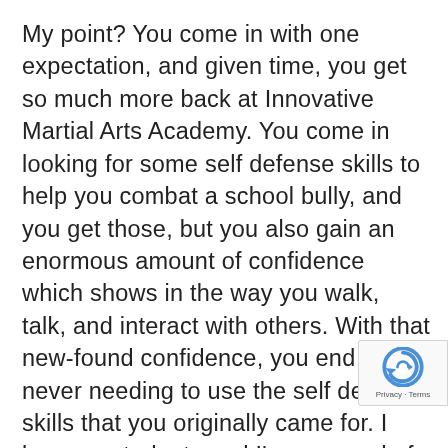My point? You come in with one expectation, and given time, you get so much more back at Innovative Martial Arts Academy. You come in looking for some self defense skills to help you combat a school bully, and you get those, but you also gain an enormous amount of confidence which shows in the way you walk, talk, and interact with others. With that new-found confidence, you end up never needing to use the self defense skills that you originally came for. I love my students and I'm so proud of the people they become. I literally could go and on with example after example, but would all say the same thing: get your
[Figure (logo): reCAPTCHA badge with circular arrow logo and Privacy - Terms text]